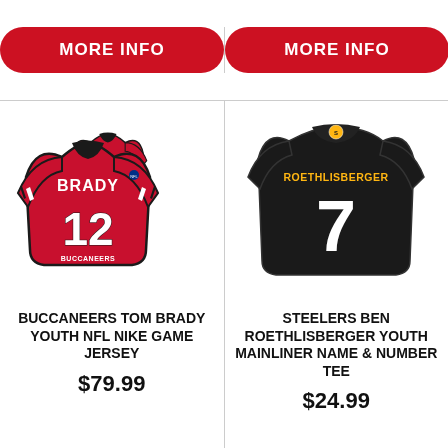[Figure (photo): Red MORE INFO button for Buccaneers Brady jersey]
[Figure (photo): Red MORE INFO button for Steelers Roethlisberger tee]
[Figure (photo): Red Nike Buccaneers Tom Brady #12 youth game jersey]
[Figure (photo): Black Steelers Ben Roethlisberger #7 youth mainliner name & number tee, back view]
BUCCANEERS TOM BRADY YOUTH NFL NIKE GAME JERSEY
STEELERS BEN ROETHLISBERGER YOUTH MAINLINER NAME & NUMBER TEE
$79.99
$24.99